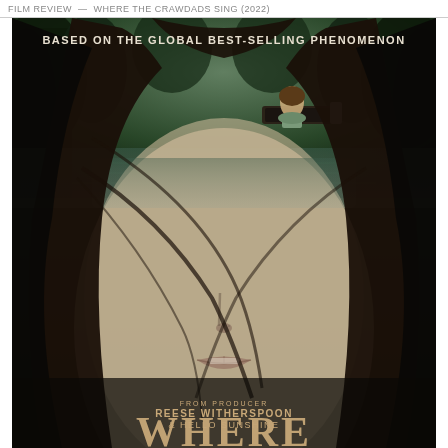FILM REVIEW — WHERE THE CRAWDADS SING (2022)
[Figure (photo): Movie poster for 'Where the Crawdads Sing'. A double-exposure composite image showing a close-up of a young woman's face in black and white, with her eyes replaced by a misty swamp scene with dark trees and a small boat carrying a person. Text at top reads 'BASED ON THE GLOBAL BEST-SELLING PHENOMENON'. Lower portion shows text: 'FROM PRODUCER REESE WITHERSPOON & HELLO SUNSHINE' and the movie title 'WHERE THE CRAWDADS' (with SING cut off at bottom).]